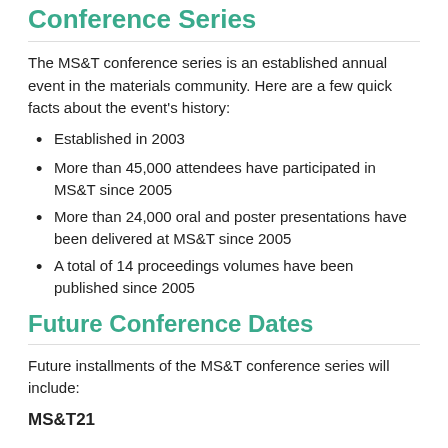Conference Series
The MS&T conference series is an established annual event in the materials community. Here are a few quick facts about the event's history:
Established in 2003
More than 45,000 attendees have participated in MS&T since 2005
More than 24,000 oral and poster presentations have been delivered at MS&T since 2005
A total of 14 proceedings volumes have been published since 2005
Future Conference Dates
Future installments of the MS&T conference series will include:
MS&T21